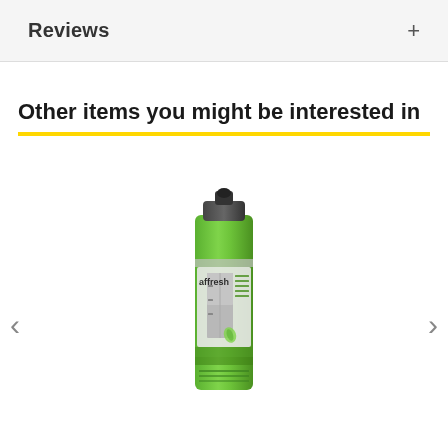Reviews
Other items you might be interested in
[Figure (photo): Affresh stainless steel cleaning spray can with green label]
‹
›